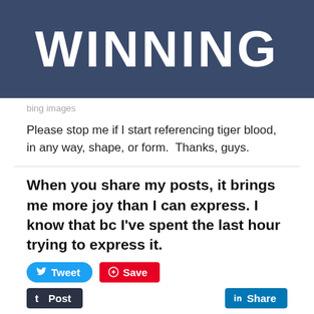[Figure (photo): Image with bold white text 'WINNING' overlaid on a dark blue background (person in dark clothing visible)]
bing images
Please stop me if I start referencing tiger blood, in any way, shape, or form.  Thanks, guys.
When you share my posts, it brings me more joy than I can express. I know that bc I've spent the last hour trying to express it.
Tweet  Save  Post  Share  Email  Loading...